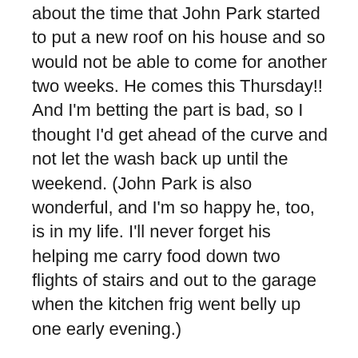about the time that John Park started to put a new roof on his house and so would not be able to come for another two weeks.  He comes this Thursday!!  And I'm betting the part is bad, so I thought I'd get ahead of the curve and not let the wash back up until the weekend.  (John Park is also wonderful, and I'm so happy he, too, is in my life.  I'll never forget his helping me carry food down two flights of stairs and out to the garage when the kitchen frig went belly up one early evening.)
Camden Clothesline is totally automated, clean, nice, efficient, and it's kind of funky fun to go there.  Likely I'll continue to take heavy bed spreads there from now on as there is a BIG washer that can handle more than one spread at a time.  Running multiple loads is just so much faster, and the big dryers are amazing.  They'll dry a lighter load in 18 minutes